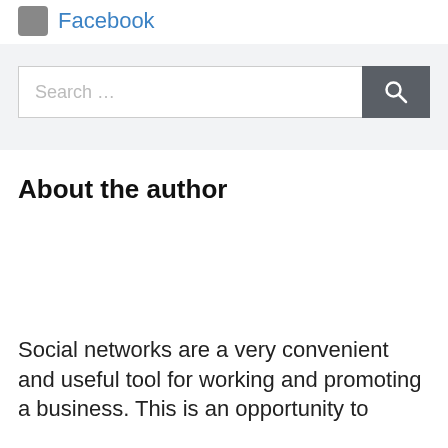Facebook
[Figure (other): Search bar with text input field reading 'Search …' and a dark grey search button with a magnifying glass icon]
About the author
Social networks are a very convenient and useful tool for working and promoting a business. This is an opportunity to